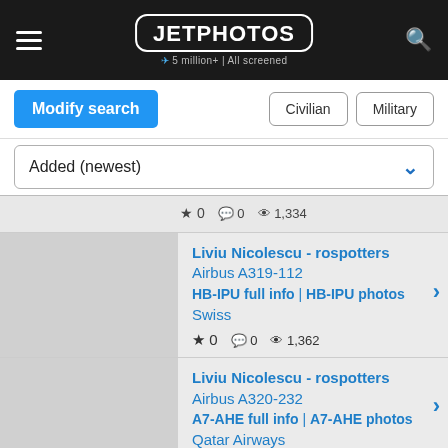JETPHOTOS — 5 million+ | All screened
Modify search | Civilian | Military
Added (newest)
★ 0  💬 0  👁 1,334
Liviu Nicolescu - rospotters
Airbus A319-112
HB-IPU full info | HB-IPU photos
Swiss
★ 0  💬 0  👁 1,362
Liviu Nicolescu - rospotters
Airbus A320-232
A7-AHE full info | A7-AHE photos
Qatar Airways